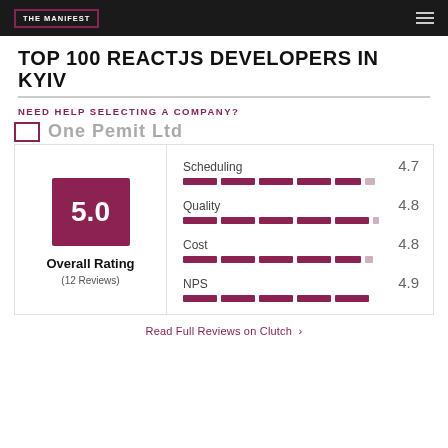THE MANIFEST
TOP 100 REACTJS DEVELOPERS IN KYIV
NEED HELP SELECTING A COMPANY?
[Figure (infographic): Company rating card showing Overall Rating 5.0 (12 Reviews) with sub-scores: Scheduling 4.7, Quality 4.8, Cost 4.8, NPS 4.9, each with a segmented bar chart]
Read Full Reviews on Clutch >